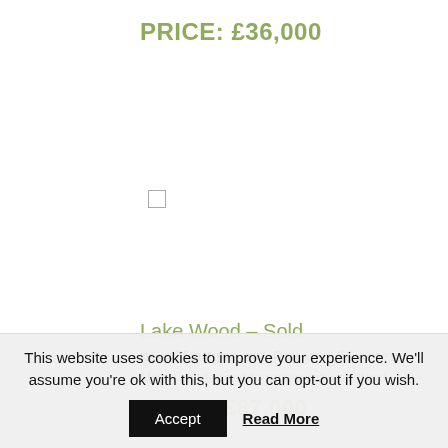PRICE: £36,000
[Figure (other): Checkbox (unchecked square)]
Lake Wood – Sold
near Montgomery, Powys – 31 acres
Mixed conifer and broadleaved woodland
PRICE: £87,000
This website uses cookies to improve your experience. We'll assume you're ok with this, but you can opt-out if you wish.